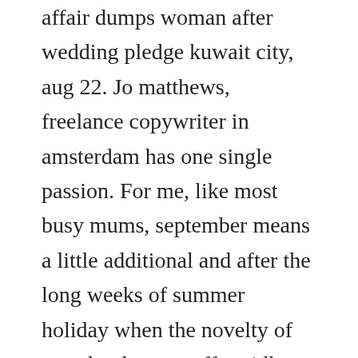affair dumps woman after wedding pledge kuwait city, aug 22. Jo matthews, freelance copywriter in amsterdam has one single passion. For me, like most busy mums, september means a little additional and after the long weeks of summer holiday when the novelty of no school wears off rapidly often very welcome, breathing space. A true story of sex, murder, and a texas millionaire avon true crime kindle edition by casey, kathryn. From th june cinemagoers will have the chance to see belle, a film based on the true story of dido belle, the illegitimate mixed race